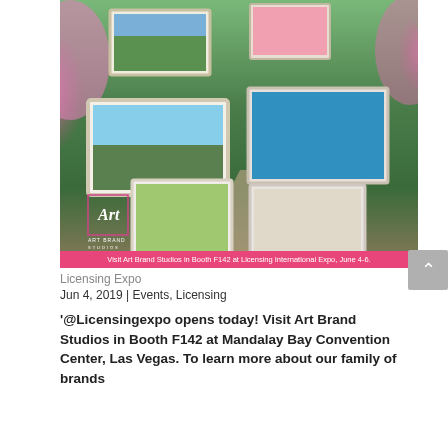[Figure (photo): Art Brand Studios advertisement showing framed artwork displayed in a garden setting with pink roses and lush greenery. Multiple ornate frames hang in the garden. The Art Brand Studios logo is visible in the lower left. A pink banner at the bottom reads: Visit Art Brand Studios in Booth F142 at Licensing International Expo, June 4-6.]
Licensing Expo
Jun 4, 2019 | Events, Licensing
'@Licensingexpo opens today! Visit Art Brand Studios in Booth F142 at Mandalay Bay Convention Center, Las Vegas. To learn more about our family of brands